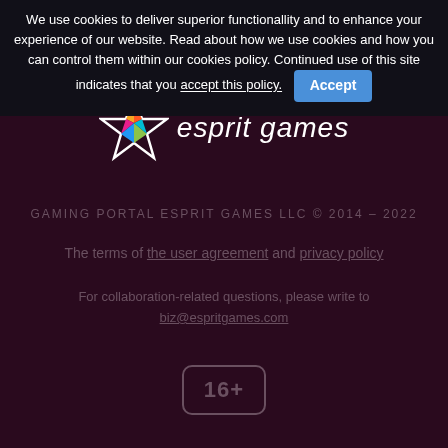We use cookies to deliver superior functionallity and to enhance your experience of our website. Read about how we use cookies and how you can control them within our cookies policy. Continued use of this site indicates that you accept this policy. [Accept]
[Figure (logo): Esprit Games logo with a colorful star icon and italic text 'esprit games' in white]
GAMING PORTAL ESPRIT GAMES LLC © 2014 – 2022
The terms of the user agreement and privacy policy
For collaboration-related questions, please write to biz@espritgames.com
[Figure (other): Age rating badge showing '16+' in a rounded rectangle]